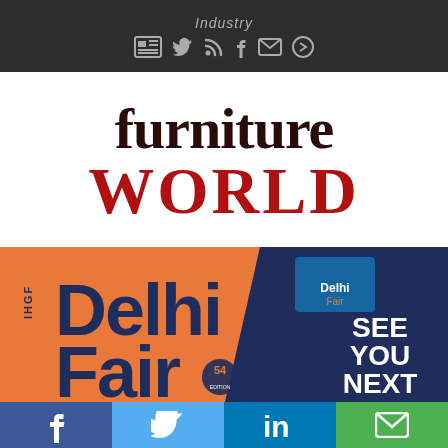Industry
[Figure (logo): Furniture World magazine logo with 'furniture' in dark maroon serif font and 'WORLD' in bold red serif font]
[Figure (illustration): IHGF Delhi Fair advertisement banner - orange and dark blue background with text 'IHGF Delhi Fair' and 'SEE YOU NEXT' with 54th edition logo]
[Figure (infographic): Social sharing bar with Facebook (blue), Twitter (light blue), LinkedIn (dark blue), and Email (green) buttons]